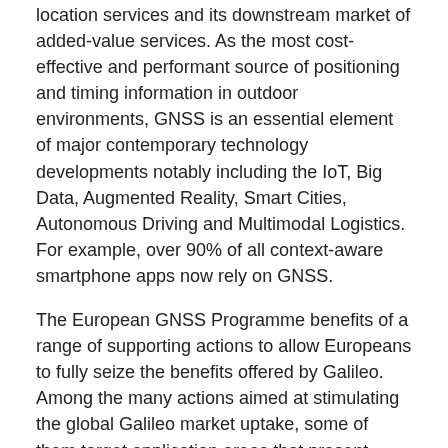location services and its downstream market of added-value services. As the most cost-effective and performant source of positioning and timing information in outdoor environments, GNSS is an essential element of major contemporary technology developments notably including the IoT, Big Data, Augmented Reality, Smart Cities, Autonomous Driving and Multimodal Logistics. For example, over 90% of all context-aware smartphone apps now rely on GNSS.
The European GNSS Programme benefits of a range of supporting actions to allow Europeans to fully seize the benefits offered by Galileo. Among the many actions aimed at stimulating the global Galileo market uptake, some of them target application areas that present commonalities and synergies with the DG CONNECT policies areas.
In the IoT domain, for example, position, navigation and